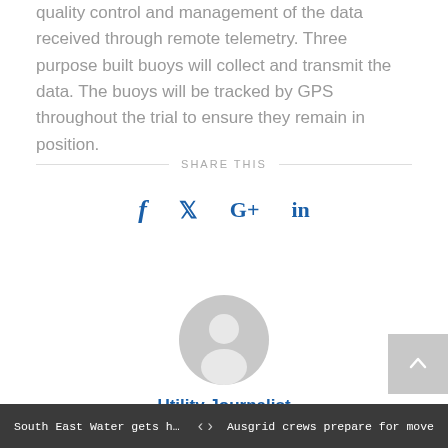quality control and management of the data received through remote telemetry. Three purpose built buoys will collect and transmit the data. The buoys will be tracked by GPS throughout the trial to ensure they remain in position.
SHARE THIS
[Figure (infographic): Social media share icons: Facebook (f), Twitter (bird/y), Google+ (G+), LinkedIn (in)]
[Figure (photo): Generic user avatar icon — circular grey silhouette of a person]
Utility Journalist
South East Water gets honourable menti...   < >   Ausgrid crews prepare for move